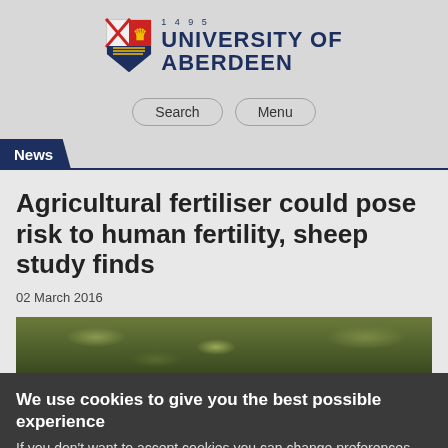[Figure (logo): University of Aberdeen crest/shield logo with 1495 year mark, alongside bold navy text reading '1495 / UNIVERSITY OF / ABERDEEN']
Search   Menu
News
Agricultural fertiliser could pose risk to human fertility, sheep study finds
02 March 2016
[Figure (photo): Partial image of a green field or pasture, cut off at the bottom of the visible area]
We use cookies to give you the best possible experience
If you don't want to accept cookies you can change preferences